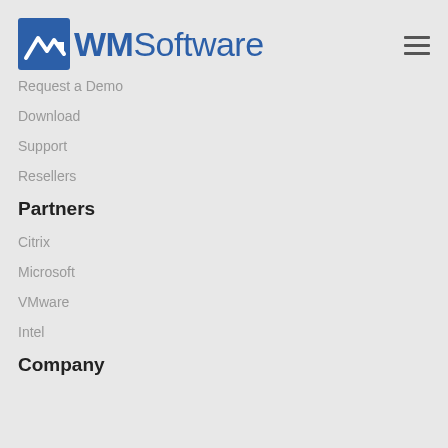[Figure (logo): WMSoftware logo with blue square icon containing white arrow and blue text WMSoftware]
Request a Demo
Download
Support
Resellers
Partners
Citrix
Microsoft
VMware
Intel
Company